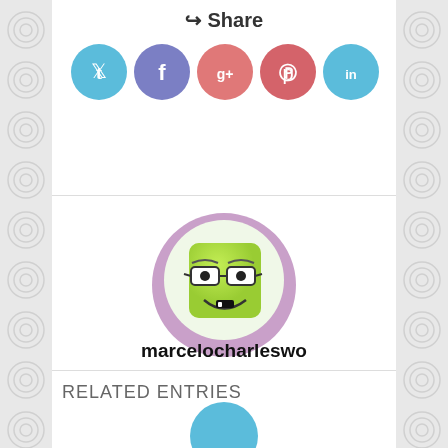Share
[Figure (illustration): Social media share icons: Twitter (blue circle), Facebook (purple circle), Google+ (salmon circle), Pinterest (red circle), LinkedIn (blue circle)]
[Figure (illustration): Avatar: a round purple-bordered icon showing a cartoon green square face with glasses and a smile]
marcelocharleswo
RELATED ENTRIES